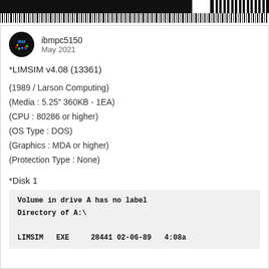[Figure (other): Barcode strip header with black and white vertical lines, dark block on left and barcode pattern on right]
[Figure (photo): Circular avatar icon showing IBM PC logo with colored dots on dark background, username ibmpc5150, date May 2021]
*LIMSIM v4.08 (13361)
(1989 / Larson Computing)
(Media : 5.25" 360KB - 1EA)
(CPU : 80286 or higher)
(OS Type : DOS)
(Graphics : MDA or higher)
(Protection Type : None)
*Disk 1
Volume in drive A has no label
Directory of A:\

LIMSTM   EXE     28441 02-06-89   4:08a